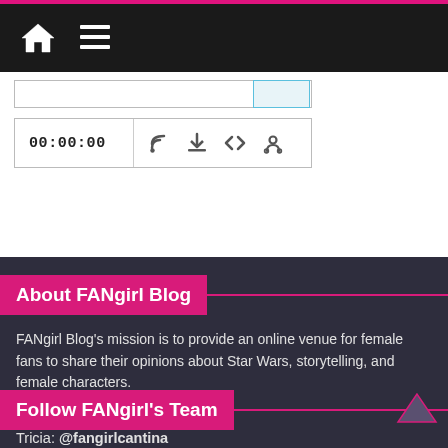FANgirl Blog - Navigation bar with home icon and menu
[Figure (screenshot): Podcast player bar showing 00:00:00 timestamp with RSS, download, embed, and share icons]
About FANgirl Blog
FANgirl Blog’s mission is to provide an online venue for female fans to share their opinions about Star Wars, storytelling, and female characters.
Follow FANgirl’s Team
Tricia: @fangirlcantina